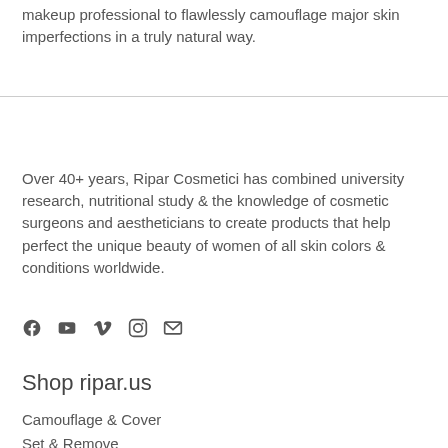makeup professional to flawlessly camouflage major skin imperfections in a truly natural way.
Over 40+ years, Ripar Cosmetici has combined university research, nutritional study & the knowledge of cosmetic surgeons and aestheticians to create products that help perfect the unique beauty of women of all skin colors & conditions worldwide.
[Figure (infographic): Social media icons: Facebook, YouTube, Vimeo, Instagram, Email]
Shop ripar.us
Camouflage & Cover
Set & Remove